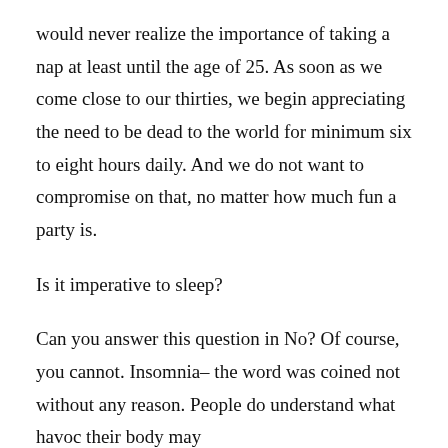would never realize the importance of taking a nap at least until the age of 25. As soon as we come close to our thirties, we begin appreciating the need to be dead to the world for minimum six to eight hours daily. And we do not want to compromise on that, no matter how much fun a party is.
Is it imperative to sleep?
Can you answer this question in No? Of course, you cannot. Insomnia– the word was coined not without any reason. People do understand what havoc their body may